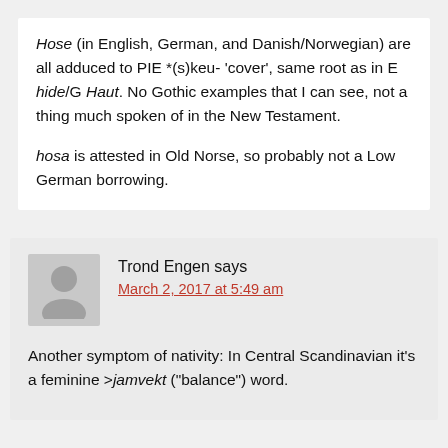Hose (in English, German, and Danish/Norwegian) are all adduced to PIE *(s)keu- 'cover', same root as in E hide/G Haut. No Gothic examples that I can see, not a thing much spoken of in the New Testament.

hosa is attested in Old Norse, so probably not a Low German borrowing.
Trond Engen says
March 2, 2017 at 5:49 am
Another symptom of nativity: In Central Scandinavian it's a feminine >jamvekt ("balance") word.